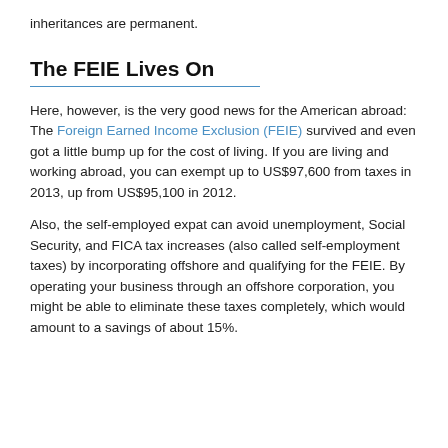inheritances are permanent.
The FEIE Lives On
Here, however, is the very good news for the American abroad: The Foreign Earned Income Exclusion (FEIE) survived and even got a little bump up for the cost of living. If you are living and working abroad, you can exempt up to US$97,600 from taxes in 2013, up from US$95,100 in 2012.
Also, the self-employed expat can avoid unemployment, Social Security, and FICA tax increases (also called self-employment taxes) by incorporating offshore and qualifying for the FEIE. By operating your business through an offshore corporation, you might be able to eliminate these taxes completely, which would amount to a savings of about 15%.